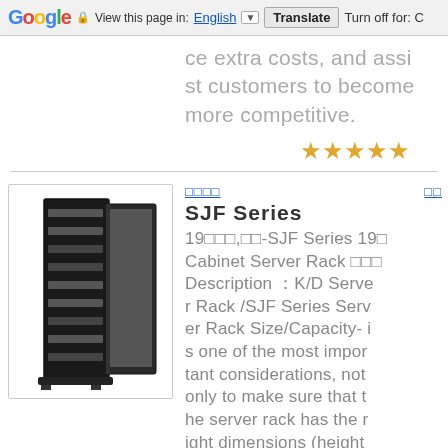Google | View this page in: English | Translate | Turn off for: C
ce extra costs, and assist customers to become more competitive.
[Figure (other): Five gold star rating icons]
[Figure (photo): Black server rack cabinet open door showing shelves inside]
□□□□
SJF Series
19□□□,□□-SJF Series 19□ Cabinet Server Rack □□□ Description : K/D Server Rack /SJF Series Server Rack Size/Capacity- is one of the most important considerations, not only to make sure that the server rack has the right dimensions (height